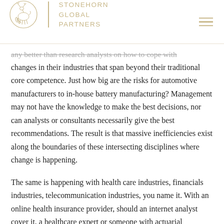STONEHORN GLOBAL PARTNERS
any better than research analysts on how to cope with changes in their industries that span beyond their traditional core competence. Just how big are the risks for automotive manufacturers to in-house battery manufacturing? Management may not have the knowledge to make the best decisions, nor can analysts or consultants necessarily give the best recommendations. The result is that massive inefficiencies exist along the boundaries of these intersecting disciplines where change is happening.
The same is happening with health care industries, financials industries, telecommunication industries, you name it. With an online health insurance provider, should an internet analyst cover it, a healthcare expert or someone with actuarial background cover it? Knowledge is expanding at a pace seemingly faster than regulators are able to cope with,